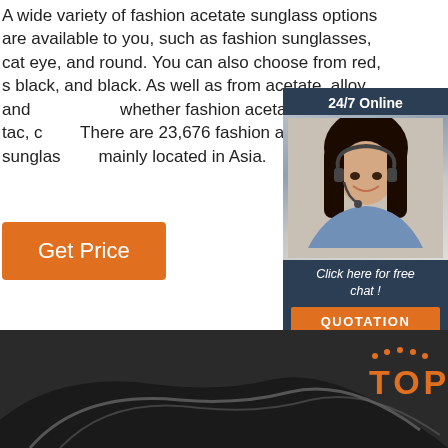A wide variety of fashion acetate sunglass options are available to you, such as fashion sunglasses, cat eye, and round. You can also choose from red, s black, and black. As well as from acetate, alloy, and whether fashion acetate sunglass is tac, c There are 23,676 fashion acetate sunglas mainly located in Asia.
[Figure (photo): 24/7 Online chat widget with a woman wearing a headset, along with a 'Click here for free chat!' message and an orange QUOTATION button]
Get Price
[Figure (photo): Dark background with a sunglass product image and an orange 'TOP' badge with dot arc decoration]